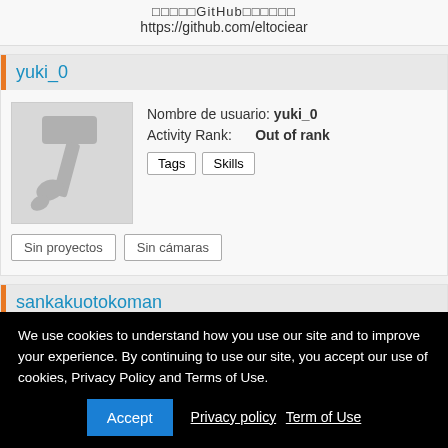□□□□□GitHub□□□□□□
https://github.com/eltociear
yuki_0
[Figure (illustration): User avatar showing a dark silhouette of a hammer/tool icon on a grey background]
Nombre de usuario: yuki_0
Activity Rank: Out of rank
Tags  Skills
Sin proyectos   Sin cámaras
sankakuotokoman
We use cookies to understand how you use our site and to improve your experience. By continuing to use our site, you accept our use of cookies, Privacy Policy and Terms of Use.
Accept   Privacy policy  Term of Use